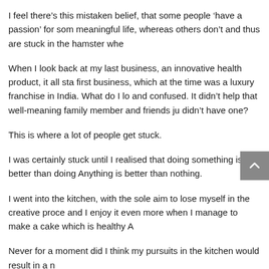I feel there’s this mistaken belief, that some people ‘have a passion’ for som meaningful life, whereas others don’t and thus are stuck in the hamster whe
When I look back at my last business, an innovative health product, it all sta first business, which at the time was a luxury franchise in India. What do I lo and confused. It didn’t help that well-meaning family member and friends ju didn’t have one?
This is where a lot of people get stuck.
I was certainly stuck until I realised that doing something is better than doing Anything is better than nothing.
I went into the kitchen, with the sole aim to lose myself in the creative proce and I enjoy it even more when I manage to make a cake which is healthy A
Never for a moment did I think my pursuits in the kitchen would result in a n